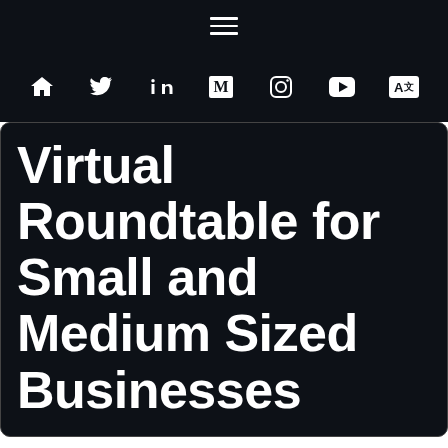[Figure (other): Navigation bar with hamburger menu icon (three horizontal lines) on dark background]
[Figure (other): Icon bar with social/navigation icons: home, Twitter, LinkedIn, Medium, Instagram, YouTube, and language/translate icon, all white on dark background]
Virtual Roundtable for Small and Medium Sized Businesses
We use cookies on our website to give you the most relevant experience by remembering your preferences and repeat visits. By clicking "Accept All", you consent to the use of ALL the cookies. However, you may visit "Cookie Settings" to provide a controlled consent.
Cookie Settings | Accept All